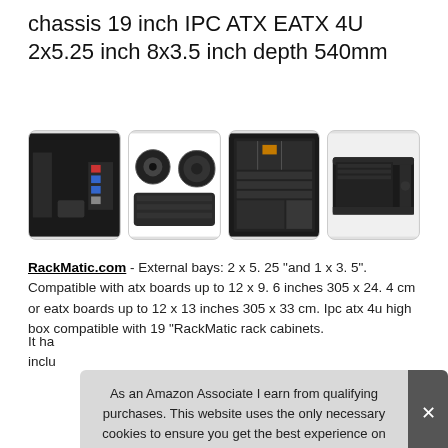chassis 19 inch IPC ATX EATX 4U 2x5.25 inch 8x3.5 inch depth 540mm
[Figure (photo): Four product photos of a 4U rackmount IPC chassis: front panel with ports, top-front perspective, interior view, and side/rear perspective. All showing a black metal server chassis.]
RackMatic.com - External bays: 2 x 5. 25 "and 1 x 3. 5". Compatible with atx boards up to 12 x 9. 6 inches 305 x 24. 4 cm or eatx boards up to 12 x 13 inches 305 x 33 cm. Ipc atx 4u high box compatible with 19 "RackMatic rack cabinets.
It ha
inclu
As an Amazon Associate I earn from qualifying purchases. This website uses the only necessary cookies to ensure you get the best experience on our website. More information